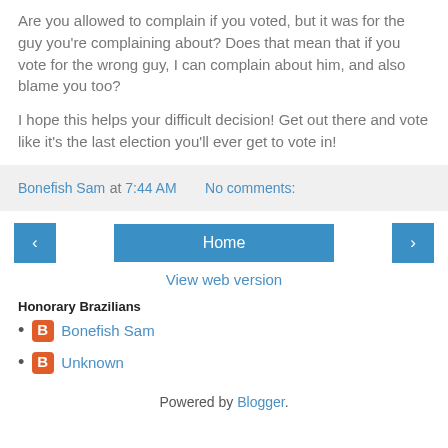Are you allowed to complain if you voted, but it was for the guy you're complaining about? Does that mean that if you vote for the wrong guy, I can complain about him, and also blame you too?
I hope this helps your difficult decision! Get out there and vote like it's the last election you'll ever get to vote in!
Bonefish Sam at 7:44 AM   No comments:
‹  Home  ›
View web version
Honorary Brazilians
Bonefish Sam
Unknown
Powered by Blogger.